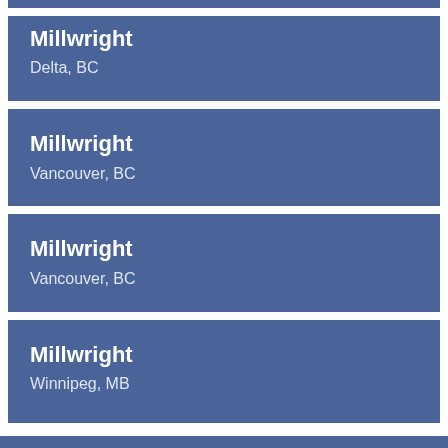Millwright
Delta, BC
Millwright
Vancouver, BC
Millwright
Vancouver, BC
Millwright
Winnipeg, MB